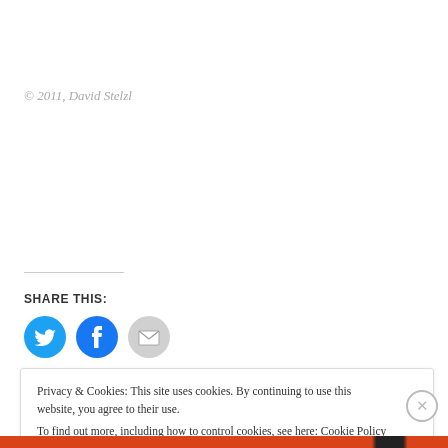© 2011, David Stelzl
SHARE THIS:
[Figure (infographic): Three social share icon buttons: Twitter (blue circle with bird icon), Facebook (blue circle with f icon), Email (gray circle with envelope icon)]
Privacy & Cookies: This site uses cookies. By continuing to use this website, you agree to their use. To find out more, including how to control cookies, see here: Cookie Policy
Close and accept